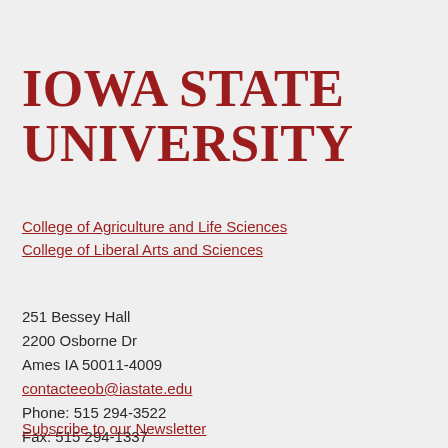Iowa State University
College of Agriculture and Life Sciences
College of Liberal Arts and Sciences
251 Bessey Hall
2200 Osborne Dr
Ames IA 50011-4009
contacteeob@iastate.edu
Phone: 515 294-3522
Fax: 515 294-1337
Subscribe to our Newsletter